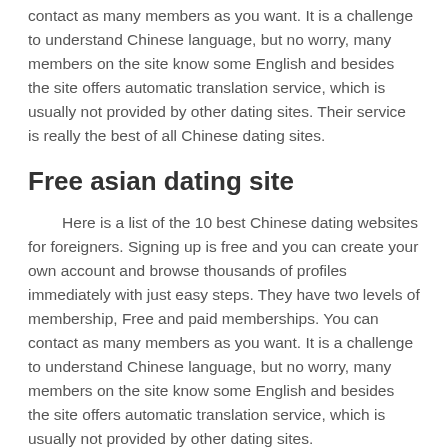contact as many members as you want. It is a challenge to understand Chinese language, but no worry, many members on the site know some English and besides the site offers automatic translation service, which is usually not provided by other dating sites. Their service is really the best of all Chinese dating sites.
Free asian dating site
Here is a list of the 10 best Chinese dating websites for foreigners. Signing up is free and you can create your own account and browse thousands of profiles immediately with just easy steps. They have two levels of membership, Free and paid memberships. You can contact as many members as you want. It is a challenge to understand Chinese language, but no worry, many members on the site know some English and besides the site offers automatic translation service, which is usually not provided by other dating sites.